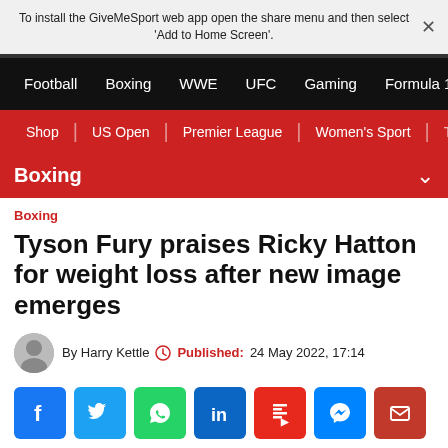To install the GiveMeSport web app open the share menu and then select 'Add to Home Screen'.
Football  Boxing  WWE  UFC  Gaming  Formula 1
Shop | US Open | Premier League | Women's Sport | The Fo
Boxing
Boxing
Tyson Fury praises Ricky Hatton for weight loss after new image emerges
By Harry Kettle  Published: 24 May 2022, 17:14
[Figure (infographic): Social sharing icons: Facebook, Twitter, WhatsApp, LinkedIn, Flipboard, Messenger, Email]